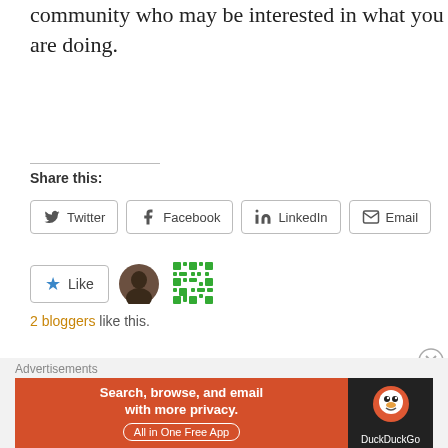community who may be interested in what you are doing.
Share this:
[Figure (other): Share buttons: Twitter, Facebook, LinkedIn, Email]
[Figure (other): Like button with 2 user avatars]
2 bloggers like this.
Promote Your Alumni Chapter's Events by Boosting Facebook Posts
Advertisements
[Figure (other): DuckDuckGo advertisement banner: Search, browse, and email with more privacy. All in One Free App]